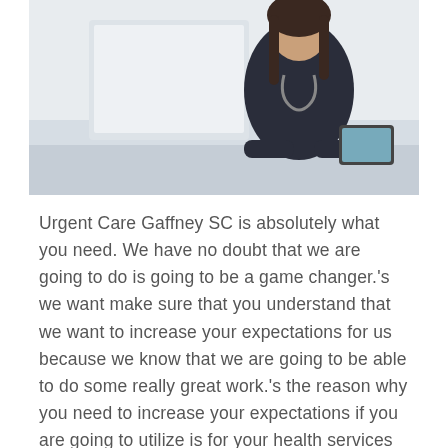[Figure (photo): A female healthcare professional with a stethoscope sitting at a desk, looking at a tablet or monitor in a clinical setting.]
Urgent Care Gaffney SC is absolutely what you need. We have no doubt that we are going to do is going to be a game changer.'s we want make sure that you understand that we want to increase your expectations for us because we know that we are going to be able to do some really great work.'s the reason why you need to increase your expectations if you are going to utilize is for your health services is because we know that functional medical health, and urgent care, our things that we do incredibly well, and we want you to know that there nothing but benefits for you..'s we want you to know that we are going to make a lot better, and it is going to be